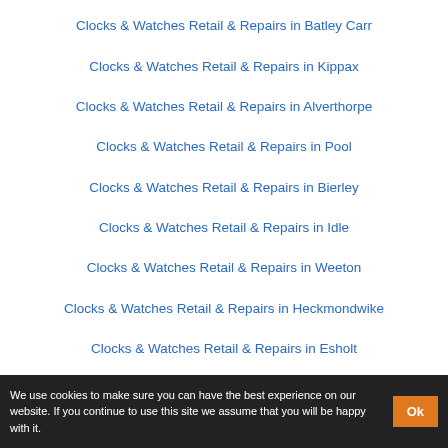Clocks & Watches Retail & Repairs in Batley Carr
Clocks & Watches Retail & Repairs in Kippax
Clocks & Watches Retail & Repairs in Alverthorpe
Clocks & Watches Retail & Repairs in Pool
Clocks & Watches Retail & Repairs in Bierley
Clocks & Watches Retail & Repairs in Idle
Clocks & Watches Retail & Repairs in Weeton
Clocks & Watches Retail & Repairs in Heckmondwike
Clocks & Watches Retail & Repairs in Esholt
We use cookies to make sure you can have the best experience on our website. If you continue to use this site we assume that you will be happy with it.